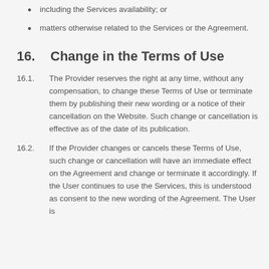including the Services availability; or
matters otherwise related to the Services or the Agreement.
16.    Change in the Terms of Use
16.1.  The Provider reserves the right at any time, without any compensation, to change these Terms of Use or terminate them by publishing their new wording or a notice of their cancellation on the Website. Such change or cancellation is effective as of the date of its publication.
16.2.  If the Provider changes or cancels these Terms of Use, such change or cancellation will have an immediate effect on the Agreement and change or terminate it accordingly. If the User continues to use the Services, this is understood as consent to the new wording of the Agreement. The User is